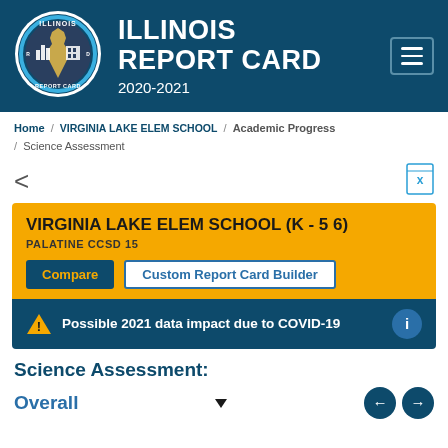[Figure (logo): Illinois Report Card circular logo with Illinois state outline, bar chart and building icons, blue ring border]
ILLINOIS REPORT CARD 2020-2021
Home / VIRGINIA LAKE ELEM SCHOOL / Academic Progress / Science Assessment
VIRGINIA LAKE ELEM SCHOOL (K - 5 6)
PALATINE CCSD 15
Compare
Custom Report Card Builder
Possible 2021 data impact due to COVID-19
Science Assessment:
Overall